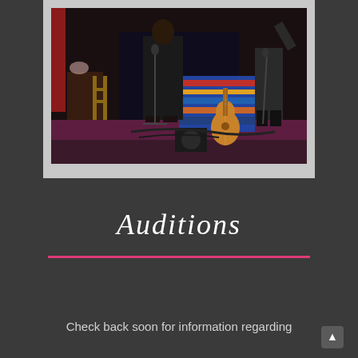[Figure (photo): A dark concert/performance photo showing two performers on stage with an acoustic guitar leaning against a colorful blanket/backdrop. Stage lights, microphone stands, and wooden chairs/ladders are visible in the background.]
Auditions
Check back soon for information regarding